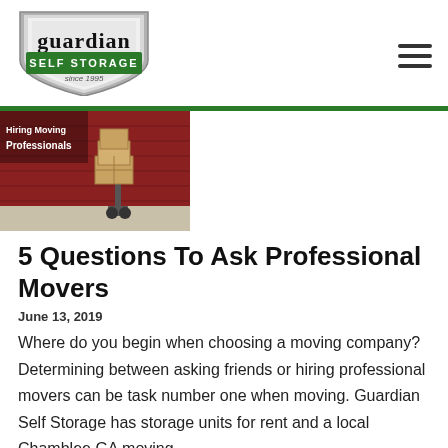[Figure (logo): Guardian Self Storage logo with shield shape and green banner reading 'SELF STORAGE since 1995']
[Figure (photo): Photo of cardboard boxes on a hand truck/dolly with red background, text overlay reading 'Hiring Moving Professionals']
5 Questions To Ask Professional Movers
June 13, 2019
Where do you begin when choosing a moving company? Determining between asking friends or hiring professional movers can be task number one when moving. Guardian Self Storage has storage units for rent and a local Chamblee GA moving